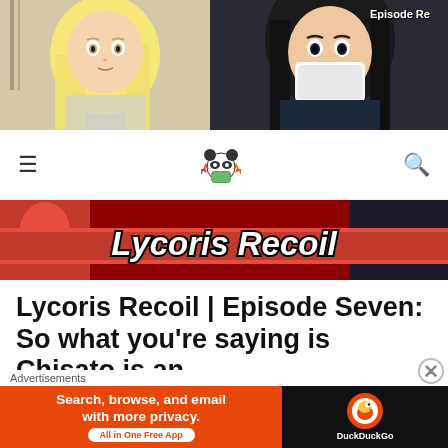[Figure (illustration): Anime screenshot showing two characters - blonde girl on left and dark-haired girl on right, with 'Episode Re' text visible in top right corner]
[Figure (logo): Website navigation bar with hamburger menu, panda with mask emoji logo in center, and search icon on right]
[Figure (illustration): Lycoris Recoil anime banner with red background and bold italic white text reading 'Lycoris Recoil']
Lycoris Recoil | Episode Seven: So what you're saying is Chisato is an
Advertisements
[Figure (other): DuckDuckGo advertisement banner: 'Search, browse, and email with more privacy. All in One Free App' with DuckDuckGo logo on dark background]